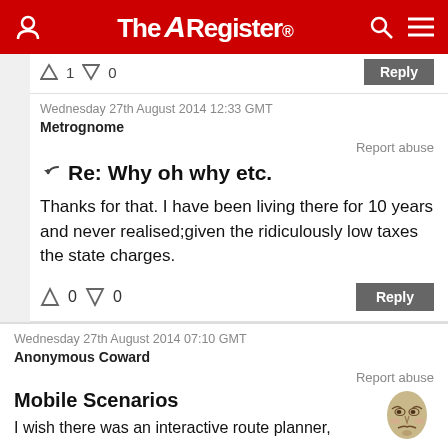The Register
↑ 1  ↓ 0   Reply
Wednesday 27th August 2014 12:33 GMT
Metrognome
Report abuse
Re: Why oh why etc.
Thanks for that. I have been living there for 10 years and never realised;given the ridiculously low taxes the state charges.
↑ 0  ↓ 0   Reply
Wednesday 27th August 2014 07:10 GMT
Anonymous Coward
Report abuse
Mobile Scenarios
I wish there was an interactive route planner,